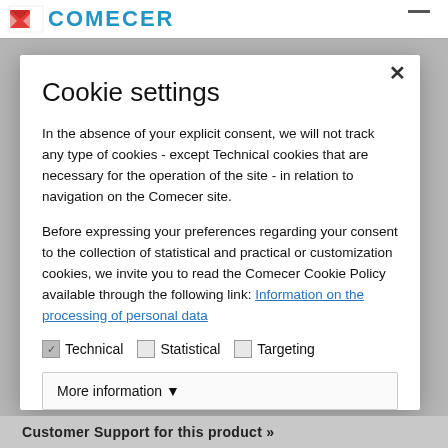[Figure (logo): Comecer logo with red/blue icon and blue uppercase text partially visible at top]
Cookie settings
In the absence of your explicit consent, we will not track any type of cookies - except Technical cookies that are necessary for the operation of the site - in relation to navigation on the Comecer site.
Before expressing your preferences regarding your consent to the collection of statistical and practical or customization cookies, we invite you to read the Comecer Cookie Policy available through the following link: Information on the processing of personal data
✓ Technical  □ Statistical  □ Targeting
More information ▼
Customer Support for this product »